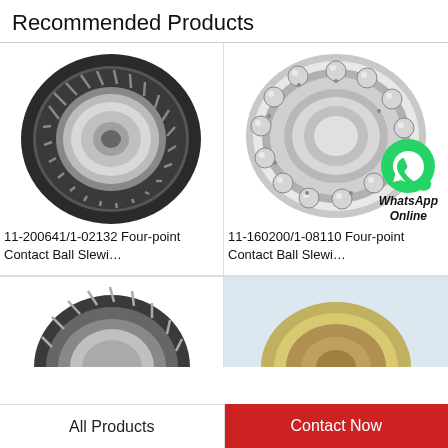Recommended Products
[Figure (photo): Tapered roller slewing bearing - 11-200641/1-02132]
11-200641/1-02132 Four-point Contact Ball Slewi…
[Figure (photo): Ball bearing with WhatsApp Online badge - 11-160200/1-08110]
11-160200/1-08110 Four-point Contact Ball Slewi…
[Figure (photo): Partial view of a slewing bearing (bottom left)]
[Figure (photo): Partial view of a slewing bearing (bottom right)]
All Products
Contact Now